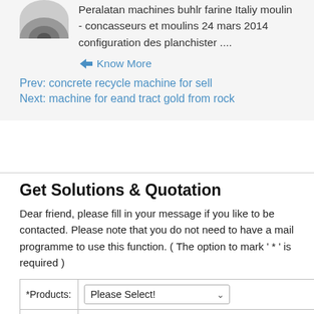[Figure (photo): Partial view of a circular machine part (top of page, cropped)]
Peralatan machines buhlr farine Italiy moulin - concasseurs et moulins 24 mars 2014 configuration des planchister ....
Know More
Prev: concrete recycle machine for sell
Next: machine for eand tract gold from rock
Get Solutions & Quotation
Dear friend, please fill in your message if you like to be contacted. Please note that you do not need to have a mail programme to use this function. ( The option to mark ' * ' is required )
| *Products: | Please Select! |
| --- | --- |
| *Materials: | Basalt  Barite  Bentonite
Calcite  Coal  Copper |